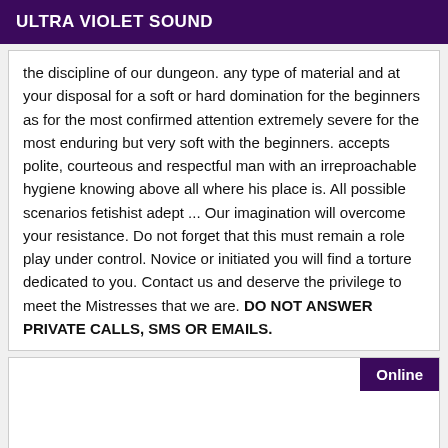ULTRA VIOLET SOUND
the discipline of our dungeon. any type of material and at your disposal for a soft or hard domination for the beginners as for the most confirmed attention extremely severe for the most enduring but very soft with the beginners. accepts polite, courteous and respectful man with an irreproachable hygiene knowing above all where his place is. All possible scenarios fetishist adept ... Our imagination will overcome your resistance. Do not forget that this must remain a role play under control. Novice or initiated you will find a torture dedicated to you. Contact us and deserve the privilege to meet the Mistresses that we are. DO NOT ANSWER PRIVATE CALLS, SMS OR EMAILS.
Online